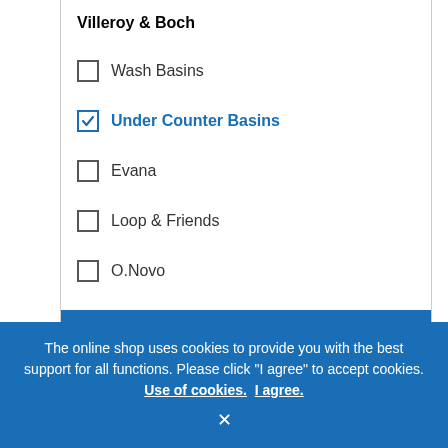Villeroy & Boch
Wash Basins
Under Counter Basins
Evana
Loop & Friends
O.Novo
SERIE
ANCHO (MM)
PROFUNDIDAD (MM)
The online shop uses cookies to provide you with the best support for all functions. Please click "I agree" to accept cookies. Use of cookies. I agree.